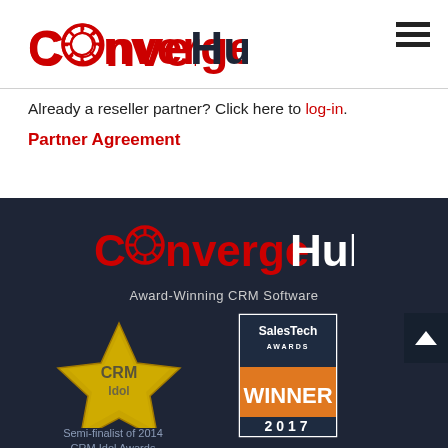[Figure (logo): ConvergeHub logo in red and dark text at top left]
[Figure (other): Hamburger menu icon (three horizontal lines) at top right]
Already a reseller partner? Click here to log-in.
Partner Agreement
[Figure (logo): ConvergeHub logo in red and white on dark background in footer]
Award-Winning CRM Software
[Figure (logo): CRM Idol gold star award badge]
Semi-finalist of 2014 CRM Idol Awards
[Figure (logo): SalesTech Awards WINNER 2017 badge with orange background]